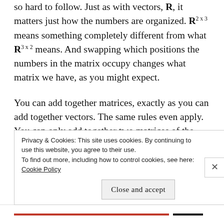so hard to follow. Just as with vectors, R, it matters just how the numbers are organized. R^{2x3} means something completely different from what R^{3x2} means. And swapping which positions the numbers in the matrix occupy changes what matrix we have, as you might expect.
You can add together matrices, exactly as you can add together vectors. The same rules even apply. You can only add together two matrices of the same size. They have to have the same number of rows and the same number of columns. You add them by adding together
Privacy & Cookies: This site uses cookies. By continuing to use this website, you agree to their use.
To find out more, including how to control cookies, see here: Cookie Policy
Close and accept